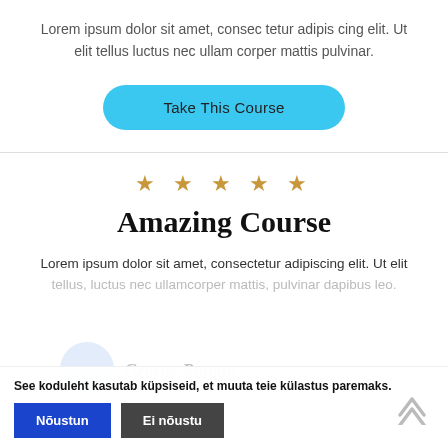Lorem ipsum dolor sit amet, consec tetur adipis cing elit. Ut elit tellus luctus nec ullam corper mattis pulvinar.
[Figure (other): A cyan/sky-blue pill-shaped button labeled 'Take This Course']
★ ★ ★ ★ ★
Amazing Course
Lorem ipsum dolor sit amet, consectetur adipiscing elit. Ut elit tellus, luctus nec ullamcorper mattis, pulvinar dapibus leo.
George Roman
See koduleht kasutab küpsiseid, et muuta teie külastus paremaks.
Nõustun
Ei nõustu